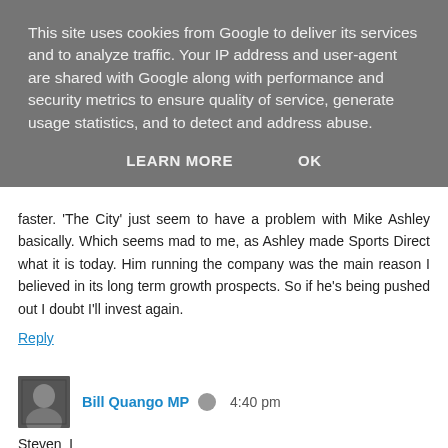This site uses cookies from Google to deliver its services and to analyze traffic. Your IP address and user-agent are shared with Google along with performance and security metrics to ensure quality of service, generate usage statistics, and to detect and address abuse.
LEARN MORE   OK
faster. 'The City' just seem to have a problem with Mike Ashley basically. Which seems mad to me, as Ashley made Sports Direct what it is today. Him running the company was the main reason I believed in its long term growth prospects. So if he's being pushed out I doubt I'll invest again.
Reply
Bill Quango MP  4:40 pm
Steven_L
A colleague being booted off the firm told me that he'd said to Ashley straight and about more than that, told me...